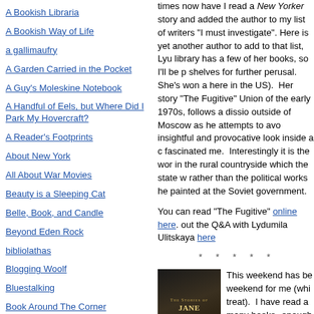A Bookish Libraria
A Bookish Way of Life
a gallimaufry
A Garden Carried in the Pocket
A Guy's Moleskine Notebook
A Handful of Eels, but Where Did I Park My Hovercraft?
A Reader's Footprints
About New York
All About War Movies
Beauty is a Sleeping Cat
Belle, Book, and Candle
Beyond Eden Rock
bibliolathas
Blogging Woolf
Bluestalking
Book Around The Corner
Book Chase
times now have I read a New Yorker story and added the author to my list of writers "I must investigate". Here is yet another author to add to that list, Lyu... library has a few of her books, so I'll be pulling from shelves for further perusal. She's won awards (well known here in the US). Her story "The Fugitive"... Union of the early 1970s, follows a dissio... outside of Moscow as he attempts to avo... insightful and provocative look inside a c... fascinated me. Interestingly it is the wor... in the rural countryside which the state w... rather than the political works he painted... at the Soviet government.
You can read "The Fugitive" online here. out the Q&A with Lydumila Ulitskaya here
* * * * *
[Figure (photo): Book cover of 'The Stories of Jane Gardam' showing title text and an elderly person's face]
This weekend has be... weekend for me (whi... treat). I have read a... many books--enough... my "must read everyth...